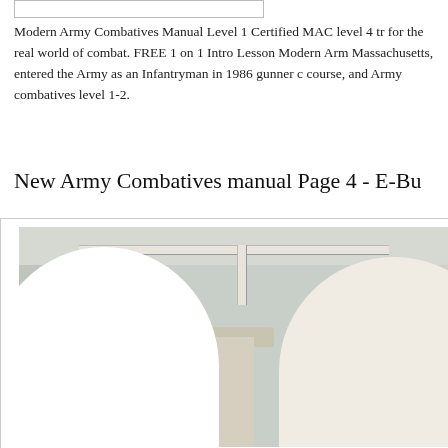Modern Army Combatives Manual Level 1 Certified MAC level 4 tr for the real world of combat. FREE 1 on 1 Intro Lesson Modern Arm Massachusetts, entered the Army as an Infantryman in 1986 gunner course, and Army combatives level 1-2.
New Army Combatives manual Page 4 - E-Bu
[Figure (photo): Interior architectural photo showing a ceiling with a dark upper band, horizontal and vertical pipes/conduits, arched openings below, and a central pillar or column structure. Muted beige and grey tones.]